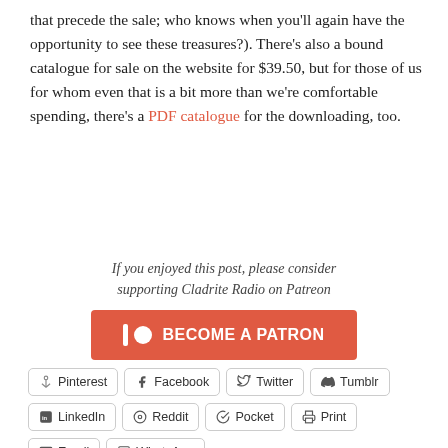that precede the sale; who knows when you'll again have the opportunity to see these treasures?). There's also a bound catalogue for sale on the website for $39.50, but for those of us for whom even that is a bit more than we're comfortable spending, there's a PDF catalogue for the downloading, too.
If you enjoyed this post, please consider supporting Cladrite Radio on Patreon
[Figure (other): Become a Patron button (Patreon) — red/orange button with Patreon icon and text 'BECOME A PATRON']
Pinterest
Facebook
Twitter
Tumblr
LinkedIn
Reddit
Pocket
Print
Email
WhatsApp